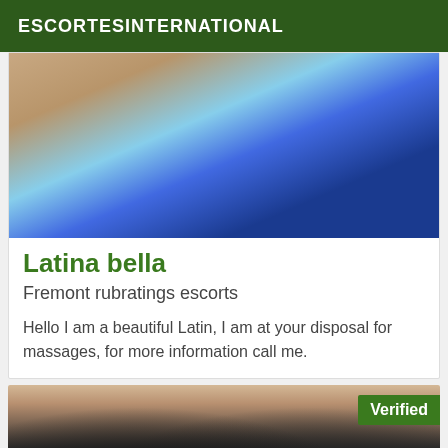ESCORTESINTERNATIONAL
[Figure (photo): Close-up photo showing skin tones and blue fabric/clothing at the top]
Latina bella
Fremont rubratings escorts
Hello I am a beautiful Latin, I am at your disposal for massages, for more information call me.
[Figure (photo): Close-up photo of a person wearing a black lace bra, with a green Verified badge in the top right corner]